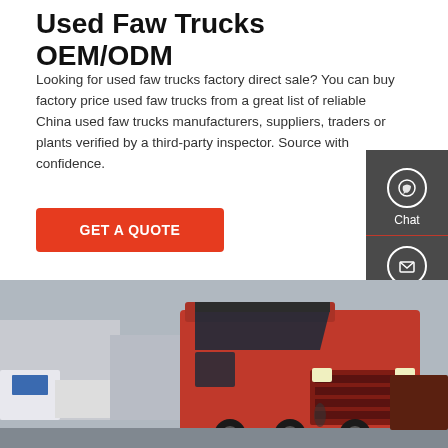Used Faw Trucks OEM/ODM
Looking for used faw trucks factory direct sale? You can buy factory price used faw trucks from a great list of reliable China used faw trucks manufacturers, suppliers, traders or plants verified by a third-party inspector. Source with confidence.
GET A QUOTE
[Figure (other): Sidebar with Chat, Email, and Contact icons on a dark grey background]
[Figure (photo): Red HOWO semi-truck (tractor unit) parked in a commercial yard with buildings and other trucks in the background]